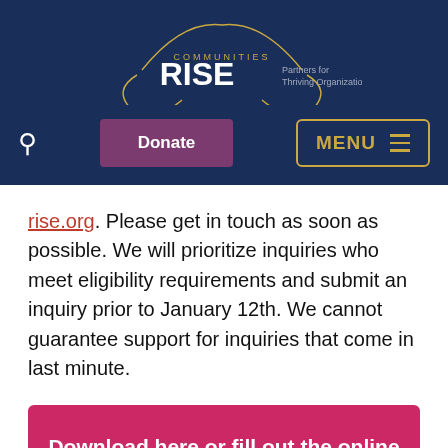[Figure (logo): Communities RISE logo with tagline 'Partners for Thriving Organizations' on dark navy background]
rise.org. Please get in touch as soon as possible. We will prioritize inquiries who meet eligibility requirements and submit an inquiry prior to January 12th. We cannot guarantee support for inquiries that come in last minute.
Download here or fill out the online form below